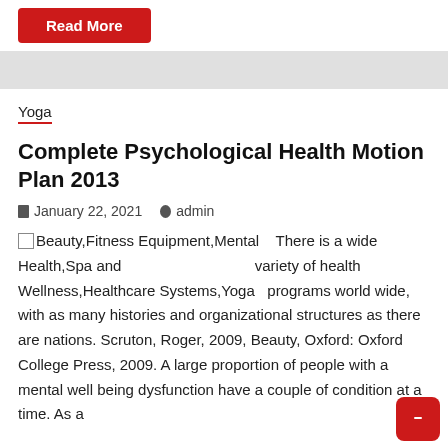Read More
Yoga
Complete Psychological Health Motion Plan 2013
January 22, 2021   admin
Beauty,Fitness Equipment,Mental Health,Spa and Wellness,Healthcare Systems,Yoga   There is a wide variety of health programs world wide, with as many histories and organizational structures as there are nations. Scruton, Roger, 2009, Beauty, Oxford: Oxford College Press, 2009. A large proportion of people with a mental well being dysfunction have a couple of condition at a time. As a